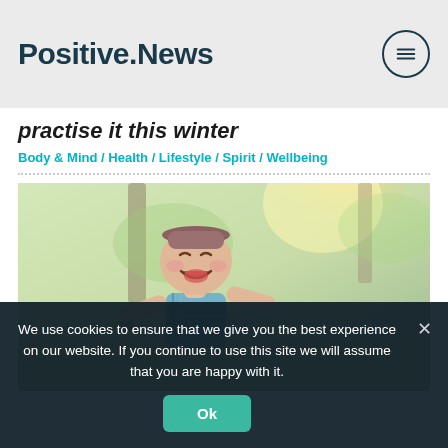Positive.News
practise it this winter
Body & Mind / Health / Lifestyle / Spirit / Wellbeing
[Figure (photo): Young child laughing joyfully outdoors, wearing a hat and plaid shirt, with bright sunlit background]
We use cookies to ensure that we give you the best experience on our website. If you continue to use this site we will assume that you are happy with it.